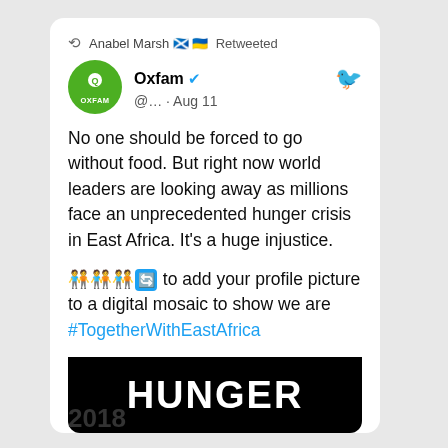[Figure (screenshot): Twitter/social media screenshot showing a retweet by Anabel Marsh of an Oxfam tweet about hunger crisis in East Africa, with #TogetherWithEastAfrica hashtag and a black banner reading HUNGER]
2018